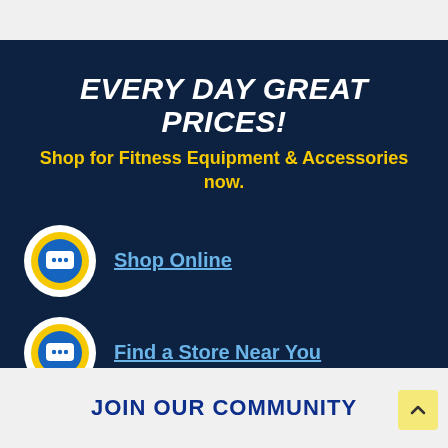EVERY DAY GREAT PRICES!
Shop for Fitness Equipment & Accessories now.
Shop Online
Find a Store Near You
JOIN OUR COMMUNITY